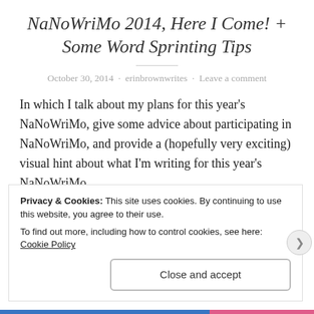NaNoWriMo 2014, Here I Come! + Some Word Sprinting Tips
October 30, 2014 · erinbrownwrites · Leave a comment
In which I talk about my plans for this year's NaNoWriMo, give some advice about participating in NaNoWriMo, and provide a (hopefully very exciting) visual hint about what I'm writing for this year's NaNoWriMo.
Privacy & Cookies: This site uses cookies. By continuing to use this website, you agree to their use.
To find out more, including how to control cookies, see here: Cookie Policy
Close and accept